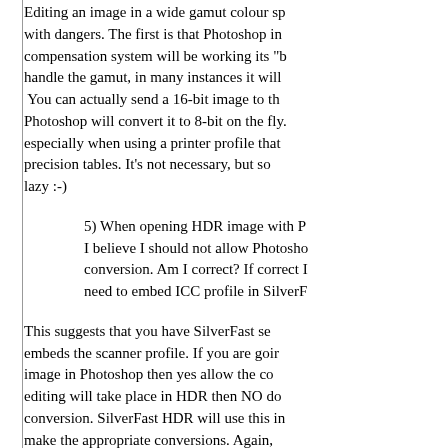Editing an image in a wide gamut colour sp with dangers. The first is that Photoshop in compensation system will be working its "b handle the gamut, in many instances it will You can actually send a 16-bit image to th Photoshop will convert it to 8-bit on the fly. especially when using a printer profile that precision tables. It's not necessary, but so lazy :-)
5) When opening HDR image with P I believe I should not allow Photosho conversion. Am I correct? If correct I need to embed ICC profile in SilverF
This suggests that you have SilverFast se embeds the scanner profile. If you are goir image in Photoshop then yes allow the co editing will take place in HDR then NO do conversion. SilverFast HDR will use this in make the appropriate conversions. Again, the answers are in there. My reading of yo (probably wrong) is that you are using Pho then you would be better to save the HDR SilverFast Ai and then open it in HDR. This Photoshop can't stick its nose in and screv spaces when you save the HDR file for pr With Photoshop 6 this isn't a problem sinc